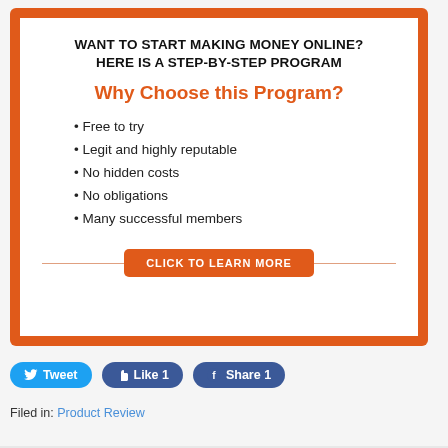WANT TO START MAKING MONEY ONLINE? HERE IS A STEP-BY-STEP PROGRAM
Why Choose this Program?
Free to try
Legit and highly reputable
No hidden costs
No obligations
Many successful members
CLICK TO LEARN MORE
Tweet  Like 1  Share 1
Filed in: Product Review